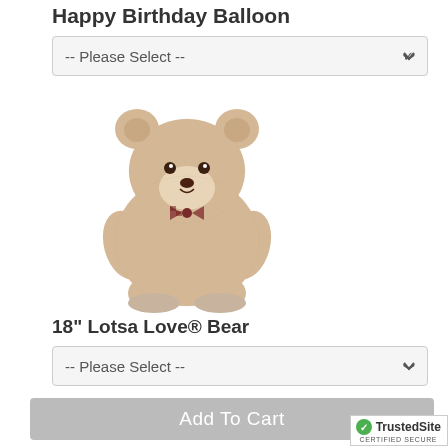Happy Birthday Balloon
[Figure (screenshot): Dropdown selector showing '-- Please Select --' with a chevron icon, for Happy Birthday Balloon]
[Figure (photo): 18-inch Lotsa Love teddy bear, beige/tan fluffy plush with a checkered bow tie, sitting upright on white background]
18" Lotsa Love® Bear
[Figure (screenshot): Dropdown selector showing '-- Please Select --' with a chevron icon, for 18 inch Lotsa Love Bear]
[Figure (screenshot): Gray 'Add To Cart' button]
[Figure (logo): TrustedSite Certified Secure badge with green checkmark]